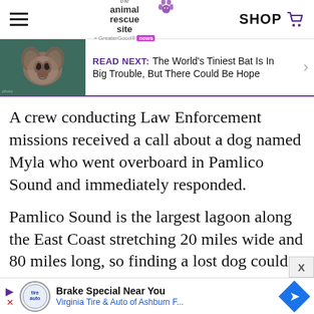the animal rescue site news — SHOP
[Figure (photo): Close-up photo of a bat's face on a teal background, used as thumbnail for Read Next article]
READ NEXT: The World's Tiniest Bat Is In Big Trouble, But There Could Be Hope
A crew conducting Law Enforcement missions received a call about a dog named Myla who went overboard in Pamlico Sound and immediately responded.
Pamlico Sound is the largest lagoon along the East Coast stretching 20 miles wide and 80 miles long, so finding a lost dog could
[Figure (other): Advertisement banner: Brake Special Near You — Virginia Tire & Auto of Ashburn F...]